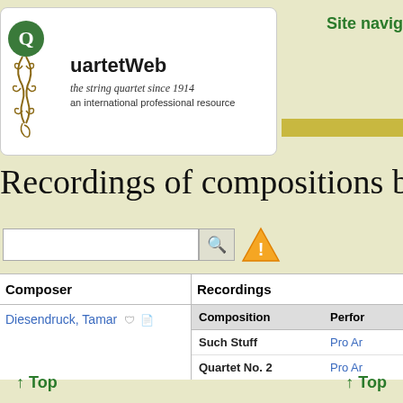QuartetWeb — the string quartet since 1914, an international professional resource
Site navig
Recordings of compositions by
| Composer | Recordings |
| --- | --- |
| Diesendruck, Tamar | Composition: Such Stuff | Performer: Pro Ar |
|  | Composition: Quartet No. 2 | Performer: Pro Ar |
↑ Top
↑ Top